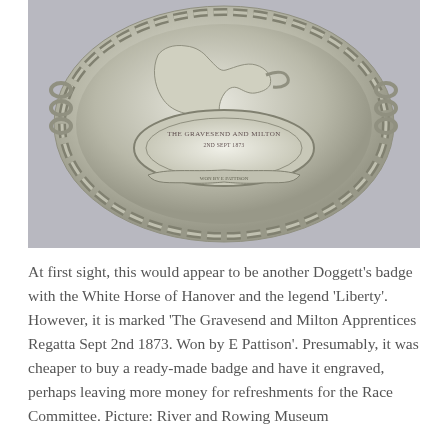[Figure (photo): A silver badge or medallion showing the White Horse of Hanover in relief, with decorative chain border and engraved inscription reading 'The Gravesend and Milton Apprentices Regatta Sept 2nd 1873. Won by E Pattison'. The badge has an ornate embossed design on a grey background.]
At first sight, this would appear to be another Doggett's badge with the White Horse of Hanover and the legend 'Liberty'. However, it is marked 'The Gravesend and Milton Apprentices Regatta Sept 2nd 1873. Won by E Pattison'. Presumably, it was cheaper to buy a ready-made badge and have it engraved, perhaps leaving more money for refreshments for the Race Committee. Picture: River and Rowing Museum